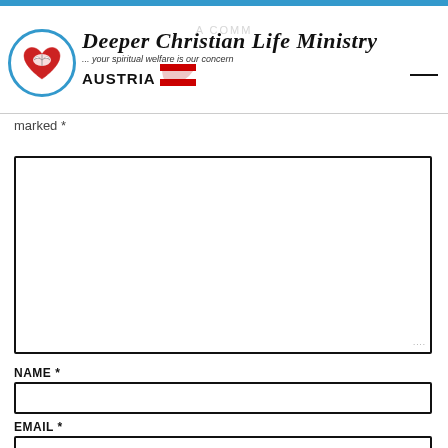[Figure (logo): Deeper Christian Life Ministry logo with circular blue-bordered emblem containing a heart with a dove/book, organization name in italic serif font, tagline '... your spiritual welfare is our concern', and 'AUSTRIA' with Austrian flag graphic]
marked *
[Figure (other): Empty textarea input box with resize handle in bottom-right corner]
NAME *
[Figure (other): Empty text input box for NAME field]
EMAIL *
[Figure (other): Empty text input box for EMAIL field]